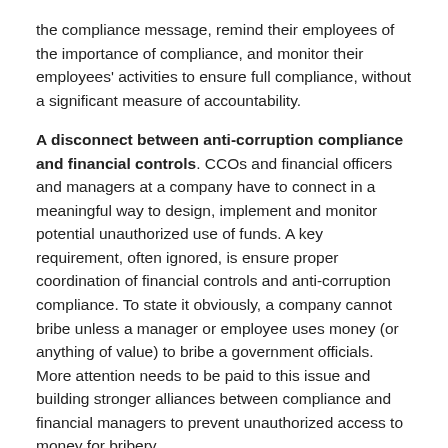the compliance message, remind their employees of the importance of compliance, and monitor their employees' activities to ensure full compliance, without a significant measure of accountability.
A disconnect between anti-corruption compliance and financial controls. CCOs and financial officers and managers at a company have to connect in a meaningful way to design, implement and monitor potential unauthorized use of funds. A key requirement, often ignored, is ensure proper coordination of financial controls and anti-corruption compliance. To state it obviously, a company cannot bribe unless a manager or employee uses money (or anything of value) to bribe a government officials. More attention needs to be paid to this issue and building stronger alliances between compliance and financial managers to prevent unauthorized access to money for bribery.
A shallow due diligence process. Many companies now have a skeletal due diligence process that employs a database service,